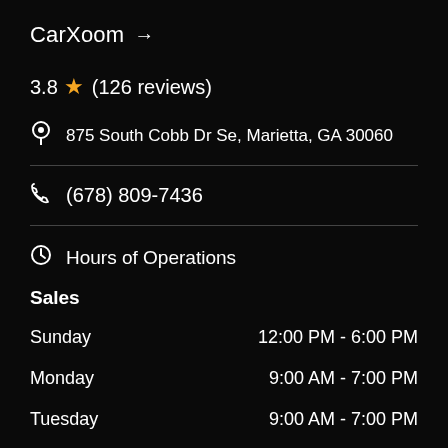CarXoom →
3.8 ★ (126 reviews)
875 South Cobb Dr Se, Marietta, GA 30060
(678) 809-7436
Hours of Operations
Sales
| Day | Hours |
| --- | --- |
| Sunday | 12:00 PM - 6:00 PM |
| Monday | 9:00 AM - 7:00 PM |
| Tuesday | 9:00 AM - 7:00 PM |
| Wednesday | 9:00 AM - 7:00 PM |